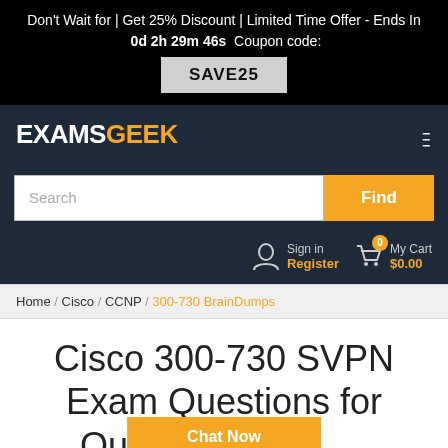Don't Wait for | Get 25% Discount | Limited Time Offer - Ends In 0d 2h 29m 46s Coupon code: SAVE25
[Figure (logo): ExamsGeek logo with EXAMS in white and GEEK in orange, dark navy background]
Search / Find
Sign in / Register / My Cart $0.00
Home / Cisco / CCNP / 300-730 BrainDumps
Cisco 300-730 SVPN Exam Questions for Quick Preparation
Chat Now